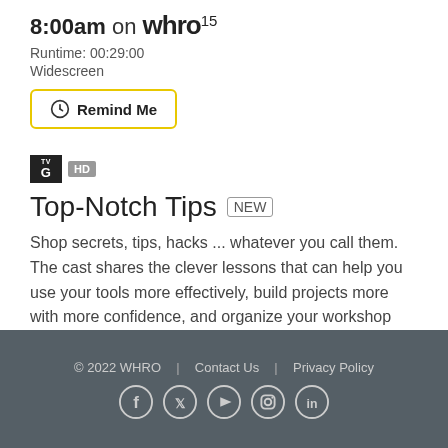8:00am on WHRO15
Runtime: 00:29:00
Widescreen
Remind Me
[Figure (infographic): TV-G rating badge (black square) and HD badge (grey)]
Top-Notch Tips NEW
Shop secrets, tips, hacks ... whatever you call them. The cast shares the clever lessons that can help you use your tools more effectively, build projects more with more confidence, and organize your workshop better. Find out how to improve your skills on this episode.
© 2022 WHRO | Contact Us | Privacy Policy